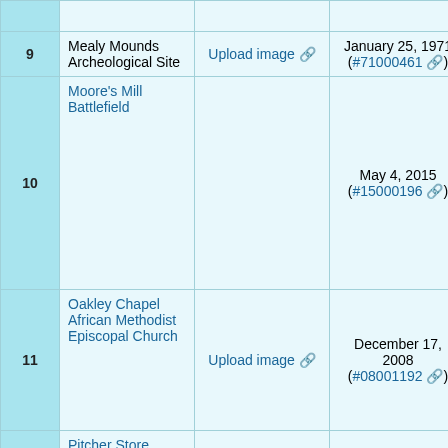| # | Name | Image | Date Listed | Location |
| --- | --- | --- | --- | --- |
|  |  |  |  | 91°56′55″ |
| 9 | Mealy Mounds Archeological Site | Upload image | January 25, 1971 (#71000461) | Address Restricted |
| 10 | Moore's Mill Battlefield |  | May 4, 2015 (#15000196) | Along Auxvasse Creek[5] 38°54′35″N 91°50′48″W |
| 11 | Oakley Chapel African Methodist Episcopal Church | Upload image | December 17, 2008 (#08001192) | County R 485 at th County R 486 junc 38°37′51″N 91°57′51″W |
| 12 | Pitcher Store |  | March 12, 2001 (#01000235) | 8513 Pitc Rd. 38°45′00″N 91°57′58″W |